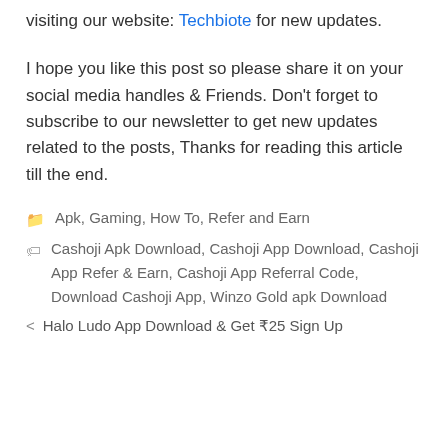visiting our website: Techbiote for new updates.
I hope you like this post so please share it on your social media handles & Friends. Don't forget to subscribe to our newsletter to get new updates related to the posts, Thanks for reading this article till the end.
Apk, Gaming, How To, Refer and Earn
Cashoji Apk Download, Cashoji App Download, Cashoji App Refer & Earn, Cashoji App Referral Code, Download Cashoji App, Winzo Gold apk Download
< Halo Ludo App Download & Get ₹25 Sign Up